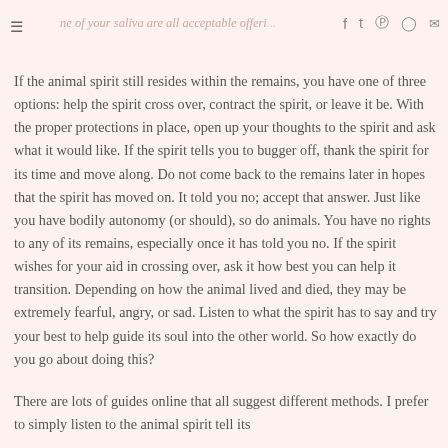ne of your saliva are all acceptable offeri... f t p o m
If the animal spirit still resides within the remains, you have one of three options: help the spirit cross over, contract the spirit, or leave it be. With the proper protections in place, open up your thoughts to the spirit and ask what it would like. If the spirit tells you to bugger off, thank the spirit for its time and move along. Do not come back to the remains later in hopes that the spirit has moved on. It told you no; accept that answer. Just like you have bodily autonomy (or should), so do animals. You have no rights to any of its remains, especially once it has told you no. If the spirit wishes for your aid in crossing over, ask it how best you can help it transition. Depending on how the animal lived and died, they may be extremely fearful, angry, or sad. Listen to what the spirit has to say and try your best to help guide its soul into the other world. So how exactly do you go about doing this?
There are lots of guides online that all suggest different methods. I prefer to simply listen to the animal spirit tell its